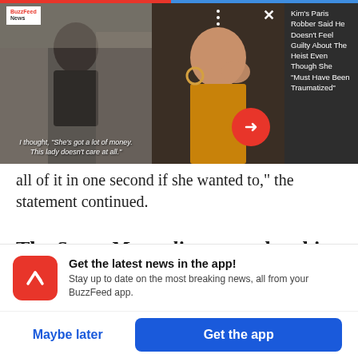[Figure (screenshot): BuzzFeed News video thumbnails side by side. Left: person in cap outdoors with caption 'I thought, "She's got a lot of money. This lady doesn't care at all."' Center: woman in yellow with hand near face, video controls overlay. Right: dark panel with white text headline about Kim's Paris Robber.]
all of it in one second if she wanted to,” the statement continued.
The Sweet Magnolias actor then hit back at Britney’s claim that she has
[Figure (infographic): App promotion banner with red BuzzFeed logo icon, headline 'Get the latest news in the app!', subtext 'Stay up to date on the most breaking news, all from your BuzzFeed app.']
Get the latest news in the app!
Stay up to date on the most breaking news, all from your BuzzFeed app.
Maybe later
Get the app